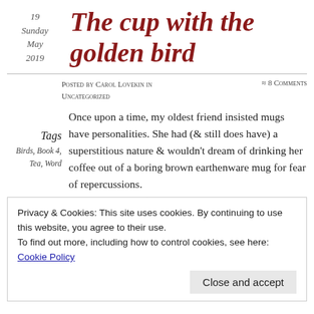19
Sunday
May
2019
The cup with the golden bird
Posted by Carol Lovekin in Uncategorized
≈ 8 Comments
Tags
Birds, Book 4, Tea, Word
Once upon a time, my oldest friend insisted mugs have personalities. She had (& still does have) a superstitious nature & wouldn't dream of drinking her coffee out of a boring brown earthenware mug for fear of repercussions.
not a unicorn" – quite). the bee one & several
Privacy & Cookies: This site uses cookies. By continuing to use this website, you agree to their use.
To find out more, including how to control cookies, see here: Cookie Policy
Close and accept